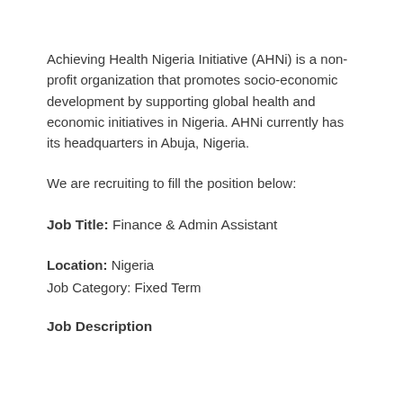Achieving Health Nigeria Initiative (AHNi) is a non-profit organization that promotes socio-economic development by supporting global health and economic initiatives in Nigeria. AHNi currently has its headquarters in Abuja, Nigeria.
We are recruiting to fill the position below:
Job Title: Finance & Admin Assistant
Location: Nigeria
Job Category: Fixed Term
Job Description